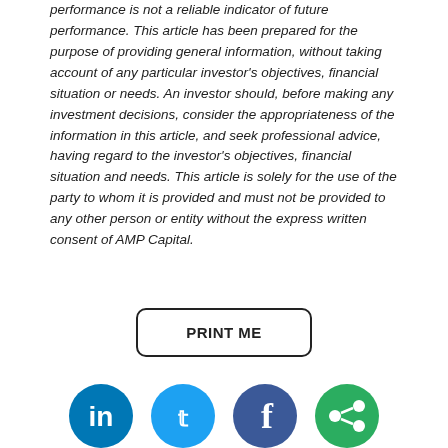performance is not a reliable indicator of future performance. This article has been prepared for the purpose of providing general information, without taking account of any particular investor's objectives, financial situation or needs. An investor should, before making any investment decisions, consider the appropriateness of the information in this article, and seek professional advice, having regard to the investor's objectives, financial situation and needs. This article is solely for the use of the party to whom it is provided and must not be provided to any other person or entity without the express written consent of AMP Capital.
[Figure (other): A button labeled PRINT ME with rounded rectangle border]
[Figure (other): Row of social media icons (LinkedIn blue, Twitter blue, Facebook blue, green share/email icon) partially visible at bottom of page]